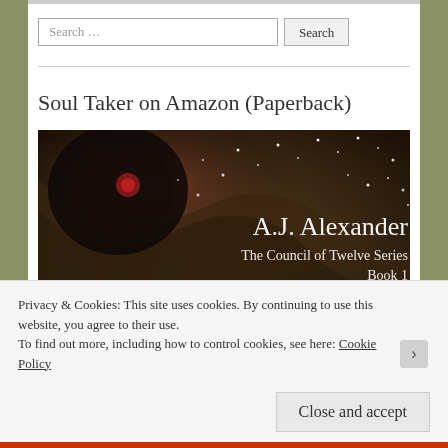Search …
Soul Taker on Amazon (Paperback)
[Figure (photo): Book cover for 'Soul Taker' by A.J. Alexander, The Council of Twelve Series Book 1. Dark fantasy cover with ethereal imagery, stars, and blue cosmic elements. Text on cover reads: A.J. Alexander, The Council of Twelve Series, Book 1.]
Privacy & Cookies: This site uses cookies. By continuing to use this website, you agree to their use.
To find out more, including how to control cookies, see here: Cookie Policy
Close and accept